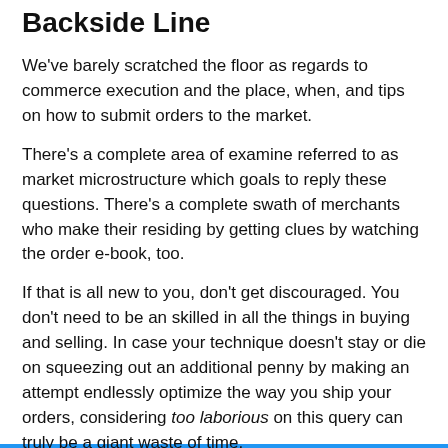Backside Line
We've barely scratched the floor as regards to commerce execution and the place, when, and tips on how to submit orders to the market.
There's a complete area of examine referred to as market microstructure which goals to reply these questions. There's a complete swath of merchants who make their residing by getting clues by watching the order e-book, too.
If that is all new to you, don't get discouraged. You don't need to be an skilled in all the things in buying and selling. In case your technique doesn't stay or die on squeezing out an additional penny by making an attempt endlessly optimize the way you ship your orders, considering too laborious on this query can truly be a giant waste of time.
Remember that the bid/ask spreads on probably the most